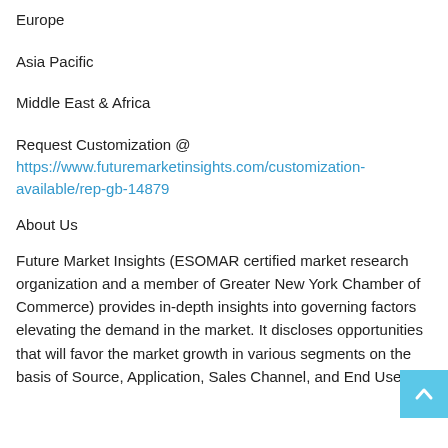Europe
Asia Pacific
Middle East & Africa
Request Customization @
https://www.futuremarketinsights.com/customization-available/rep-gb-14879
About Us
Future Market Insights (ESOMAR certified market research organization and a member of Greater New York Chamber of Commerce) provides in-depth insights into governing factors elevating the demand in the market. It discloses opportunities that will favor the market growth in various segments on the basis of Source, Application, Sales Channel, and End Use…